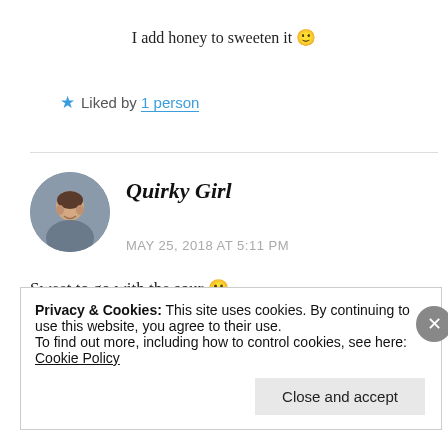I add honey to sweeten it 🙂
★ Liked by 1 person
Quirky Girl
MAY 25, 2018 AT 5:11 PM
Sweet to go with the sour 😀
Privacy & Cookies: This site uses cookies. By continuing to use this website, you agree to their use.
To find out more, including how to control cookies, see here: Cookie Policy
Close and accept